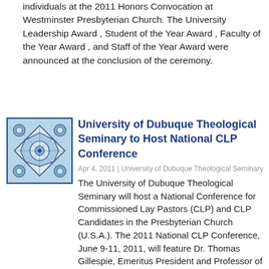individuals at the 2011 Honors Convocation at Westminster Presbyterian Church. The University Leadership Award , Student of the Year Award , Faculty of the Year Award , and Staff of the Year Award were announced at the conclusion of the ceremony.
[Figure (illustration): Decorative stained-glass style geometric pattern in blue and white, square thumbnail image]
University of Dubuque Theological Seminary to Host National CLP Conference
Apr 4, 2011 | University of Dubuque Theological Seminary
The University of Dubuque Theological Seminary will host a National Conference for Commissioned Lay Pastors (CLP) and CLP Candidates in the Presbyterian Church (U.S.A.). The 2011 National CLP Conference, June 9-11, 2011, will feature Dr. Thomas Gillespie, Emeritus President and Professor of New Testament at Princeton Theological Seminary as the keynote speaker.